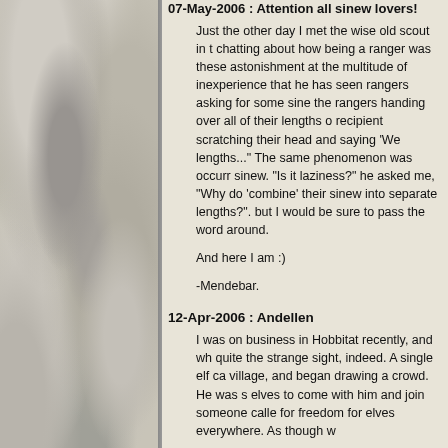07-May-2006 : Attention all sinew lovers!
Just the other day I met the wise old scout in t... chatting about how being a ranger was these... astonishment at the multitude of inexperience... that he has seen rangers asking for some sine... the rangers handing over all of their lengths o... recipient scratching their head and saying 'We... lengths..." The same phenomenon was occurr... sinew. "Is it laziness?" he asked me, "Why do... 'combine' their sinew into separate lengths?". but I would be sure to pass the word around.
And here I am :)
-Mendebar.
12-Apr-2006 : Andellen
I was on business in Hobbitat recently, and wh... quite the strange sight, indeed. A single elf ca... village, and began drawing a crowd. He was s... elves to come with him and join someone calle... for freedom for elves everywhere. As though w...
The Hobbits just looked confused, but a few e... throng to listen to what he was saying. I must... to his speech, if only to try and determine wha...
He flatly ignored the half-elf, as if he didn't exi... address himself to us elves, I saw a zealous fi... to speak again, but as his eye fell on the circle... brow, his features contorted in rage, and he le... his sword and scattering Hobbits left and right... fight, so I did what anyone in their right mind w...